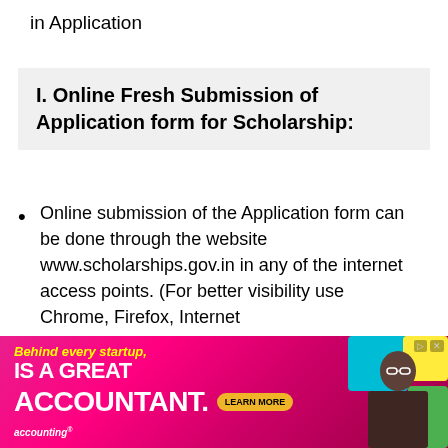in Application
I. Online Fresh Submission of Application form for Scholarship:
Online submission of the Application form can be done through the website www.scholarships.gov.in in any of the internet access points. (For better visibility use Chrome, Firefox, Internet
[Figure (infographic): Advertisement banner: 'Behind every startup, IS A GREAT ACCOUNTANT. LEARN MORE' with accounting branding, showing a smiling man with glasses against colorful background]